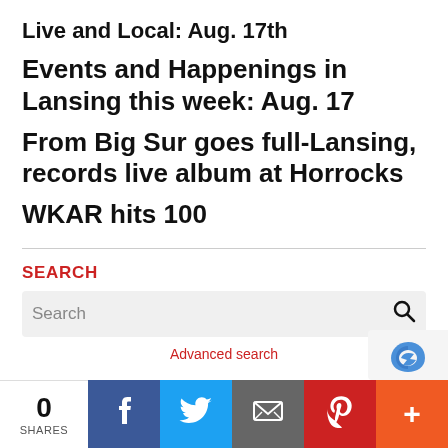Live and Local: Aug. 17th
Events and Happenings in Lansing this week: Aug. 17
From Big Sur goes full-Lansing, records live album at Horrocks
WKAR hits 100
SEARCH
Search
Advanced search
0 SHARES